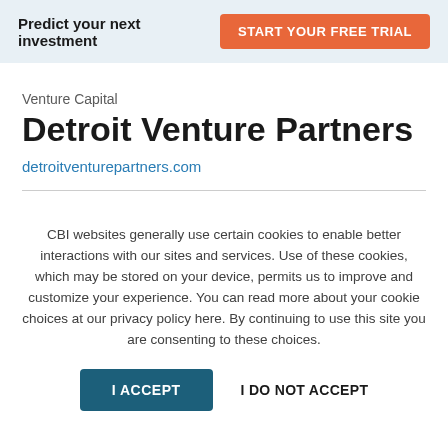Predict your next investment  START YOUR FREE TRIAL
Venture Capital
Detroit Venture Partners
detroitventurepartners.com
CBI websites generally use certain cookies to enable better interactions with our sites and services. Use of these cookies, which may be stored on your device, permits us to improve and customize your experience. You can read more about your cookie choices at our privacy policy here. By continuing to use this site you are consenting to these choices.
I ACCEPT  I DO NOT ACCEPT